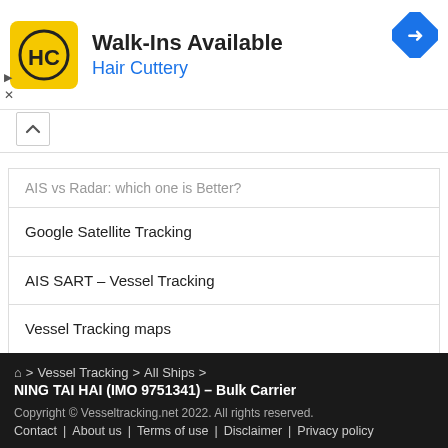[Figure (infographic): Advertisement banner for Hair Cuttery salon: yellow square logo with HC monogram, text 'Walk-Ins Available' and 'Hair Cuttery' in blue, navigation arrow icon in blue diamond shape, ad controls (triangle/X icons)]
AIS vs Radar: which one is Better?
Google Satellite Tracking
AIS SART – Vessel Tracking
Vessel Tracking maps
AISHub – AIS technology forum
Concerns about AIS as safety system and data sharing
🏠 > Vessel Tracking > All Ships > NING TAI HAI (IMO 9751341) – Bulk Carrier
Copyright © Vesseltracking.net 2022. All rights reserved.
Contact | About us | Terms of use | Disclaimer | Privacy policy